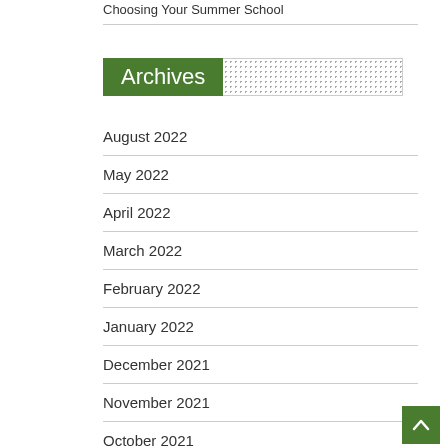Choosing Your Summer School
Archives
August 2022
May 2022
April 2022
March 2022
February 2022
January 2022
December 2021
November 2021
October 2021
September 2021